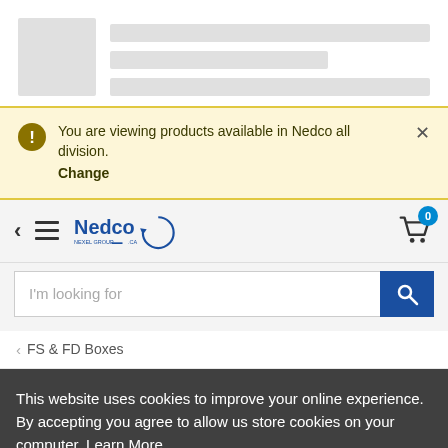[Figure (screenshot): Skeleton loader placeholder with a grey square and three grey horizontal bars]
You are viewing products available in Nedco all division. Change
[Figure (logo): Nedco Nexel Group logo with circular arrow]
I'm looking for
FS & FD Boxes
This website uses cookies to improve your online experience. By accepting you agree to allow us store cookies on your computer. Learn More
I accept